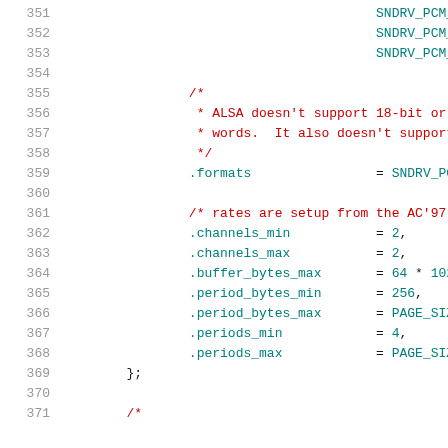Source code listing lines 351-371, showing C struct initialization with PCM hardware parameters including formats, channels, buffer and period sizes.